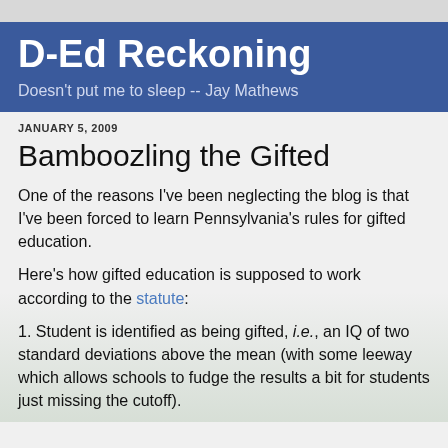D-Ed Reckoning
Doesn't put me to sleep -- Jay Mathews
JANUARY 5, 2009
Bamboozling the Gifted
One of the reasons I've been neglecting the blog is that I've been forced to learn Pennsylvania's rules for gifted education.
Here's how gifted education is supposed to work according to the statute:
1. Student is identified as being gifted, i.e., an IQ of two standard deviations above the mean (with some leeway which allows schools to fudge the results a bit for students just missing the cutoff).